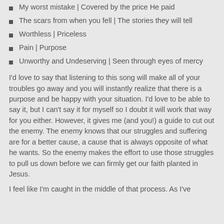My worst mistake  |  Covered by the price He paid
The scars from when you fell  |  The stories they will tell
Worthless  |  Priceless
Pain  |  Purpose
Unworthy and Undeserving  |  Seen through eyes of mercy
I'd love to say that listening to this song will make all of your troubles go away and you will instantly realize that there is a purpose and be happy with your situation.  I'd love to be able to say it, but I can't say it for myself so I doubt it will work that way for you either.  However, it gives me (and you!) a guide to cut out the enemy.  The enemy knows that our struggles and suffering are for a better cause, a cause that is always opposite of what he wants.  So the enemy makes the effort to use those struggles to pull us down before we can firmly get our faith planted in Jesus.
I feel like I'm caught in the middle of that process.  As I've